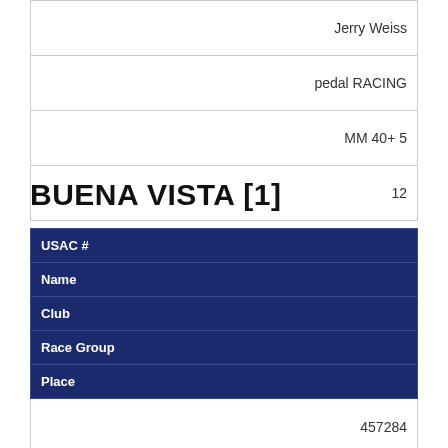| Jerry Weiss |
| pedal RACING |
| MM 40+ 5 |
| 12 |
BUENA VISTA [1]
| USAC # | Name | Club | Race Group | Place |
| --- | --- | --- | --- | --- |
| 457284 |